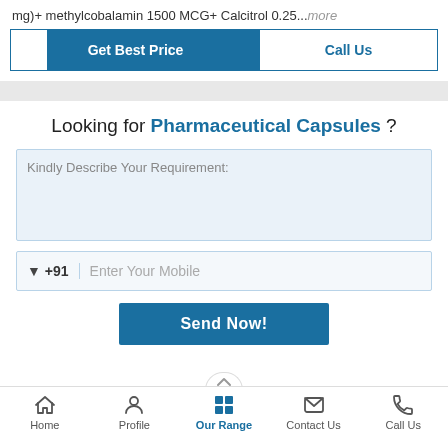mg)+ methylcobalamin 1500 MCG+ Calcitrol 0.25...more
Get Best Price | Call Us
Looking for Pharmaceutical Capsules ?
Kindly Describe Your Requirement:
▼ +91   Enter Your Mobile
Send Now!
Home | Profile | Our Range | Contact Us | Call Us